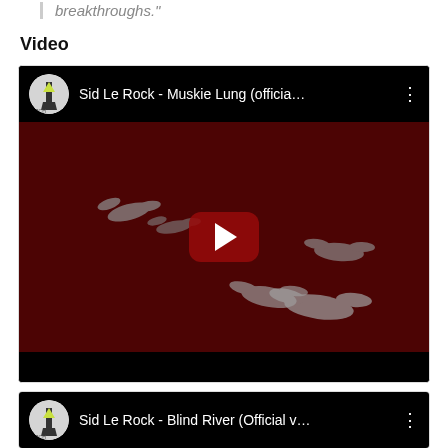breakthroughs."
Video
[Figure (screenshot): YouTube video embed for 'Sid Le Rock - Muskie Lung (officia...' with a dark red thumbnail showing bird silhouettes and a YouTube play button in the center.]
[Figure (screenshot): YouTube video embed for 'Sid Le Rock - Blind River (Official v...' showing the video header with channel avatar and title.]